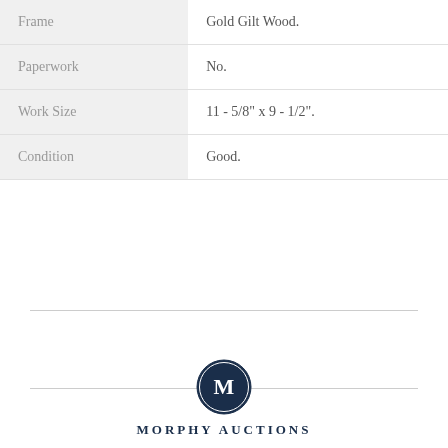| Frame | Gold Gilt Wood. |
| Paperwork | No. |
| Work Size | 11 - 5/8" x 9 - 1/2". |
| Condition | Good. |
[Figure (logo): Morphy Auctions logo: dark navy circle with letter M inside, and text MORPHY AUCTIONS below]